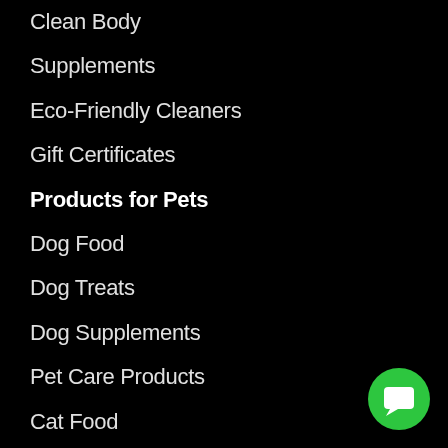Clean Body
Supplements
Eco-Friendly Cleaners
Gift Certificates
Products for Pets
Dog Food
Dog Treats
Dog Supplements
Pet Care Products
Cat Food
Cat Treats
Cat Supplements
Gift Ideas
[Figure (illustration): Green circular chat/message button in bottom-right corner with white speech bubble icon]